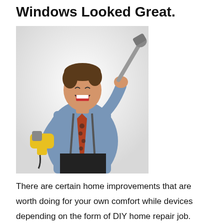Windows Looked Great.
[Figure (photo): A man in a blue dress shirt, patterned tie, and suspenders, grinning and holding a large power drill up to his head as if it were a phone, posed against a white background — reminiscent of Tim Allen's 'Home Improvement' promotional photo.]
There are certain home improvements that are worth doing for your own comfort while devices depending on the form of DIY home repair job. Vinyl are affordable and